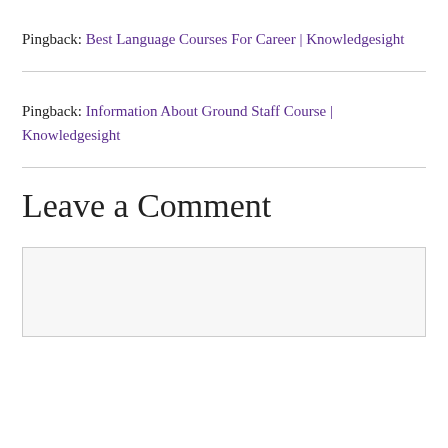Pingback: Best Language Courses For Career | Knowledgesight
Pingback: Information About Ground Staff Course | Knowledgesight
Leave a Comment